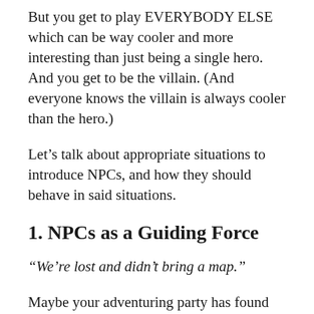But you get to play EVERYBODY ELSE which can be way cooler and more interesting than just being a single hero. And you get to be the villain. (And everyone knows the villain is always cooler than the hero.)
Let’s talk about appropriate situations to introduce NPCs, and how they should behave in said situations.
1. NPCs as a Guiding Force
“We’re lost and didn’t bring a map.”
Maybe your adventuring party has found themselves deep behind enemy lines with little hope of navigating a hostile, unfamiliar landscape. Maybe the group’s wizard fudged